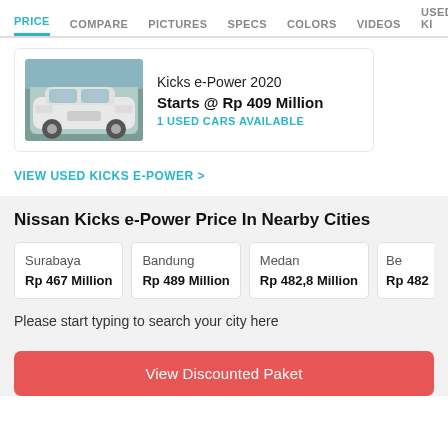PRICE  COMPARE  PICTURES  SPECS  COLORS  VIDEOS  USED KI...
Kicks e-Power 2020
Starts @ Rp 409 Million
1 USED CARS AVAILABLE
VIEW USED KICKS E-POWER >
Nissan Kicks e-Power Price In Nearby Cities
| City | Price |
| --- | --- |
| Surabaya | Rp 467 Million |
| Bandung | Rp 489 Million |
| Medan | Rp 482,8 Million |
| Be... | Rp 482... |
Please start typing to search your city here
View Discounted Paket